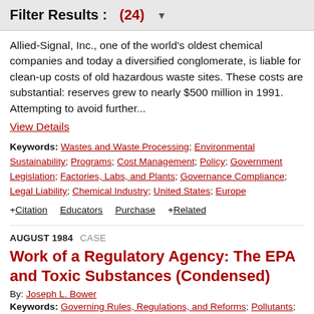Filter Results : (24) ▼
Allied-Signal, Inc., one of the world's oldest chemical companies and today a diversified conglomerate, is liable for clean-up costs of old hazardous waste sites. These costs are substantial: reserves grew to nearly $500 million in 1991. Attempting to avoid further...
View Details
Keywords: Wastes and Waste Processing; Environmental Sustainability; Programs; Cost Management; Policy; Government Legislation; Factories, Labs, and Plants; Governance Compliance; Legal Liability; Chemical Industry; United States; Europe
+ Citation   Educators   Purchase   + Related
AUGUST 1984   CASE
Work of a Regulatory Agency: The EPA and Toxic Substances (Condensed)
By: Joseph L. Bower
Keywords: Governing Rules, Regulations, and Reforms; Pollutants;